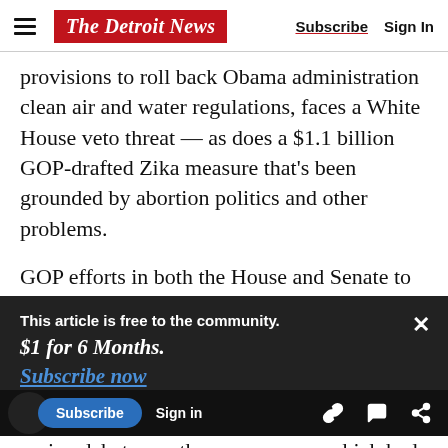The Detroit News | Subscribe | Sign In
provisions to roll back Obama administration clean air and water regulations, faces a White House veto threat — as does a $1.1 billion GOP-drafted Zika measure that's been grounded by abortion politics and other problems.

GOP efforts in both the House and Senate to restart the annual budget process hang by a thread, pointing to yet another take-it-or-leave-it
This article is free to the community.
$1 for 6 Months.
Subscribe now
e 12 spending measures to clear the House. In
revive debates on the measures — which had